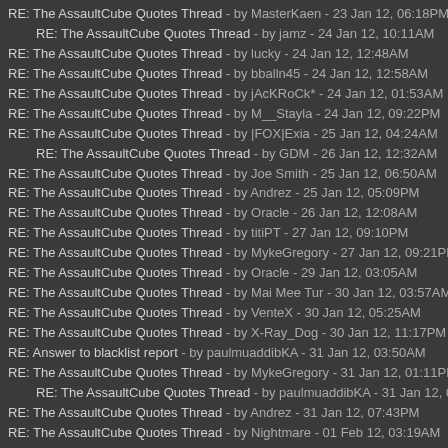RE: The AssaultCube Quotes Thread - by MasterKaen - 23 Jan 12, 06:18PM
RE: The AssaultCube Quotes Thread - by jamz - 24 Jan 12, 10:11AM
RE: The AssaultCube Quotes Thread - by lucky - 24 Jan 12, 12:48AM
RE: The AssaultCube Quotes Thread - by bballn45 - 24 Jan 12, 12:58AM
RE: The AssaultCube Quotes Thread - by jAcKRoCk* - 24 Jan 12, 01:53AM
RE: The AssaultCube Quotes Thread - by M__Stayla - 24 Jan 12, 09:22PM
RE: The AssaultCube Quotes Thread - by |FOX|Exia - 25 Jan 12, 04:24AM
RE: The AssaultCube Quotes Thread - by GDM - 26 Jan 12, 12:32AM
RE: The AssaultCube Quotes Thread - by Joe Smith - 25 Jan 12, 06:50AM
RE: The AssaultCube Quotes Thread - by Andrez - 25 Jan 12, 05:09PM
RE: The AssaultCube Quotes Thread - by Oracle - 26 Jan 12, 12:08AM
RE: The AssaultCube Quotes Thread - by titiPT - 27 Jan 12, 09:10PM
RE: The AssaultCube Quotes Thread - by MykeGregory - 27 Jan 12, 09:21PM
RE: The AssaultCube Quotes Thread - by Oracle - 29 Jan 12, 03:05AM
RE: The AssaultCube Quotes Thread - by Mai Mee Tur - 30 Jan 12, 03:57AM
RE: The AssaultCube Quotes Thread - by VenteX - 30 Jan 12, 05:25AM
RE: The AssaultCube Quotes Thread - by X-Ray_Dog - 30 Jan 12, 11:17PM
RE: Answer to blacklist report - by paulmuaddibKA - 31 Jan 12, 03:50AM
RE: The AssaultCube Quotes Thread - by MykeGregory - 31 Jan 12, 01:11PM
RE: The AssaultCube Quotes Thread - by paulmuaddibKA - 31 Jan 12, 02:44
RE: The AssaultCube Quotes Thread - by Andrez - 31 Jan 12, 07:43PM
RE: The AssaultCube Quotes Thread - by Nightmare - 01 Feb 12, 03:19AM
RE: The AssaultCube Quotes Thread - by Orynge - 01 Feb 12, 01:44PM
RE: The AssaultCube Quotes Thread - by Frogulis - 01 Feb 12, 01:54PM
RE: The AssaultCube Quotes Thread - by MykeGregory - 01 Feb 12, 09:06PM